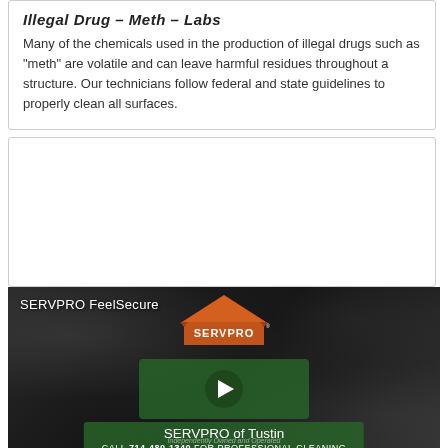Illegal Drug – Meth – Labs
Many of the chemicals used in the production of illegal drugs such as "meth" are volatile and can leave harmful residues throughout a structure. Our technicians follow federal and state guidelines to properly clean all surfaces.
OUR [VIDEOS]
[Figure (screenshot): SERVPRO video thumbnail showing the SERVPRO logo on a dark debris background, with a play button and text 'SERVPRO of Tustin' and 'CALL 714-480-1340 FOR PROFESSIONAL CLEANING']